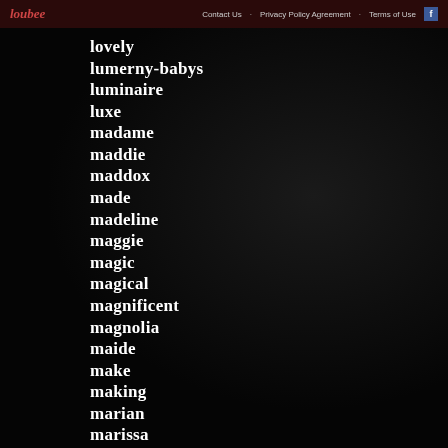loubee | Contact Us · Privacy Policy Agreement · Terms of Use
lovely
lumerny-babys
luminaire
luxe
madame
maddie
maddox
made
madeline
maggie
magic
magical
magnificent
magnolia
maide
make
making
marian
marissa
marks
martina's
mary